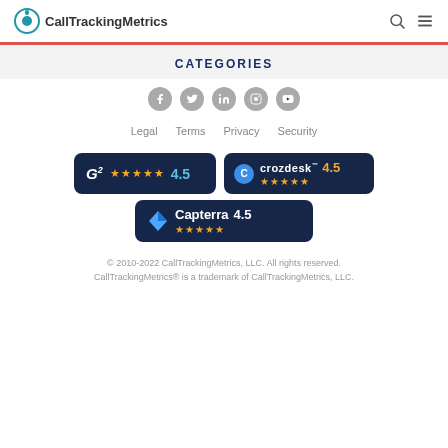CallTrackingMetrics
CATEGORIES
Legal   Terms   Privacy   Security
[Figure (logo): G2 rating badge: 4.5 stars]
[Figure (logo): Crozdesk rating badge: 4.5 stars]
[Figure (logo): Capterra rating badge: 4.5 stars]
© 2010-2022 CallTrackingMetrics, LLC. All rights reserved. CallTrackingMetrics® is a trademark of CallTrackingMetrics, LLC.